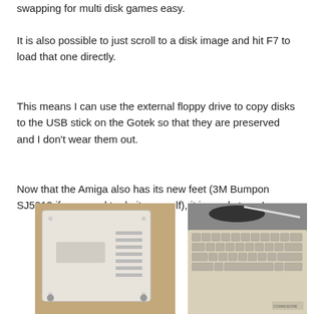swapping for multi disk games easy.
It is also possible to just scroll to a disk image and hit F7 to load that one directly.
This means I can use the external floppy drive to copy disks to the USB stick on the Gotek so that they are preserved and I don't wear them out.
Now that the Amiga also has its new feet (3M Bumpon SJ5012 if you need to do it yourself), it is ready to go!
[Figure (photo): Bottom/side view of an Amiga computer showing ventilation grilles and panel details on a wooden surface.]
[Figure (photo): Top view of an Amiga computer keyboard with keys visible and cables/disk on top, on a wooden surface.]